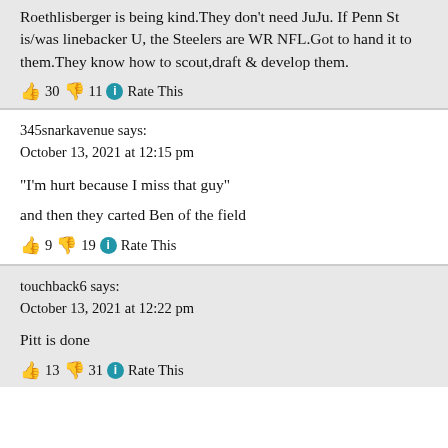Roethlisberger is being kind.They don't need JuJu. If Penn St is/was linebacker U, the Steelers are WR NFL.Got to hand it to them.They know how to scout,draft & develop them.
👍 30 👎 11 ℹ Rate This
345snarkavenue says:
October 13, 2021 at 12:15 pm
“I’m hurt because I miss that guy”
and then they carted Ben of the field
👍 9 👎 19 ℹ Rate This
touchback6 says:
October 13, 2021 at 12:22 pm
Pitt is done
👍 13 👎 31 ℹ Rate This